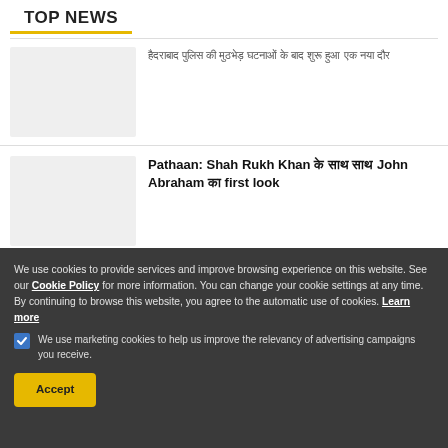TOP NEWS
हैदराबाद पुलिस की मुठभेड़ घटनाओं के बाद शुरू हुआ एक नया दौर
Pathaan: Shah Rukh Khan के साथ साथ John Abraham का first look
We use cookies to provide services and improve browsing experience on this website. See our Cookie Policy for more information. You can change your cookie settings at any time. By continuing to browse this website, you agree to the automatic use of cookies. Learn more
We use marketing cookies to help us improve the relevancy of advertising campaigns you receive.
Accept